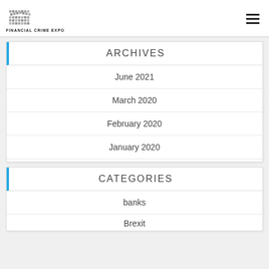FINANCIAL CRIME EXPO
ARCHIVES
June 2021
March 2020
February 2020
January 2020
CATEGORIES
banks
Brexit